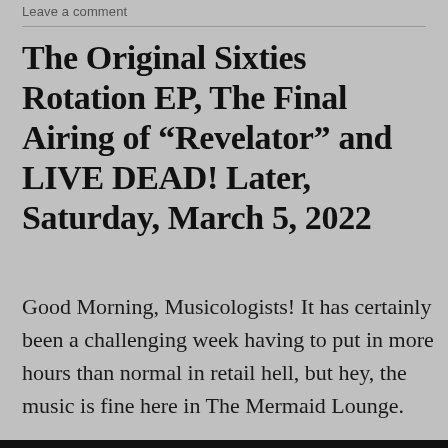Leave a comment
The Original Sixties Rotation EP, The Final Airing of “Revelator” and LIVE DEAD! Later, Saturday, March 5, 2022
Good Morning, Musicologists! It has certainly been a challenging week having to put in more hours than normal in retail hell, but hey, the music is fine here in The Mermaid Lounge.